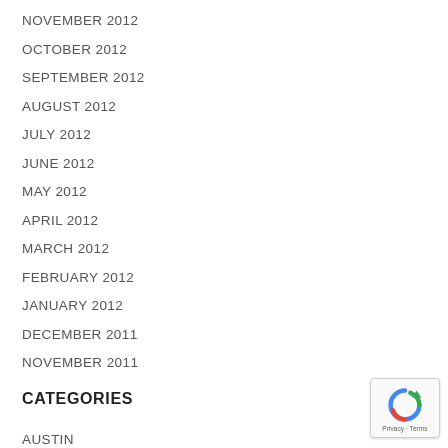NOVEMBER 2012
OCTOBER 2012
SEPTEMBER 2012
AUGUST 2012
JULY 2012
JUNE 2012
MAY 2012
APRIL 2012
MARCH 2012
FEBRUARY 2012
JANUARY 2012
DECEMBER 2011
NOVEMBER 2011
CATEGORIES
AUSTIN